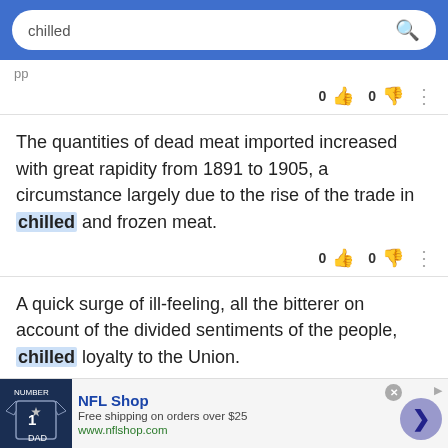chilled [search bar]
The quantities of dead meat imported increased with great rapidity from 1891 to 1905, a circumstance largely due to the rise of the trade in chilled and frozen meat.
A quick surge of ill-feeling, all the bitterer on account of the divided sentiments of the people, chilled loyalty to the Union.
[Figure (screenshot): NFL Shop advertisement banner with jersey image, free shipping offer over $25, www.nflshop.com]